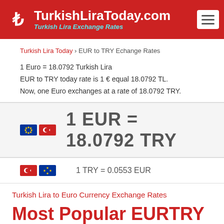TurkishLiraToday.com — Turkish Lira Exchange Rates
Turkish Lira Today › EUR to TRY Echange Rates
1 Euro = 18.0792 Turkish Lira
EUR to TRY today rate is 1 € equal 18.0792 TL.
Now, one Euro exchanges at a rate of 18.0792 TRY.
1 EUR = 18.0792 TRY
1 TRY = 0.0553 EUR
Turkish Lira to Euro Currency Exchange Rates
Most Popular EURTRY (EUR to TRY) Conversions
Euro to Turkish Lira converter and get the latest currencies rates.
Convert EUR to TRY